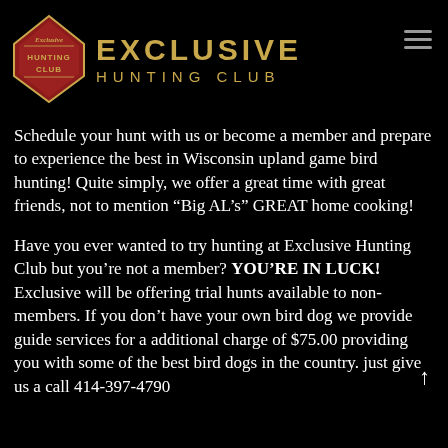[Figure (logo): Exclusive Hunting Club logo: red arrowhead-shaped badge with 'Exclusive Hunting Club' text, next to large gold 'EXCLUSIVE' and 'HUNTING CLUB' lettering on black background, with hamburger menu icon at top right]
Schedule your hunt with us or become a member and prepare to experience the best in Wisconsin upland game bird hunting! Quite simply, we offer a great time with great friends, not to mention “Big AL’s” GREAT home cooking!
Have you ever wanted to try hunting at Exclusive Hunting Club but you’re not a member? YOU’RE IN LUCK! Exclusive will be offering trial hunts available to non-members. If you don’t have your own bird dog we provide guide services for a additional charge of $75.00 providing you with some of the best bird dogs in the country. just give us a call 414-397-4790